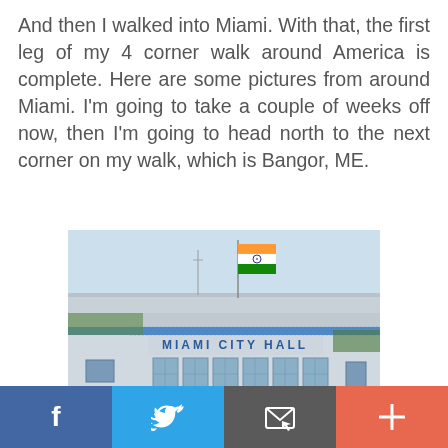And then I walked into Miami. With that, the first leg of my 4 corner walk around America is complete. Here are some pictures from around Miami. I'm going to take a couple of weeks off now, then I'm going to head north to the next corner on my walk, which is Bangor, ME.
[Figure (photo): Photo of Miami City Hall building, a white Art Deco style building with 'MIAMI CITY HALL' text on the facade, decorative blue trim, large windows, and an Indian flag flying from a pole on the roof. Blue sky background.]
City Hall in Miami, FL — taken along the Dinner Key waterfront